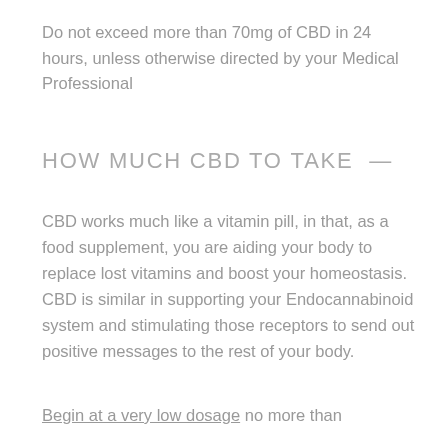Do not exceed more than 70mg of CBD in 24 hours, unless otherwise directed by your Medical Professional
HOW MUCH CBD TO TAKE —
CBD works much like a vitamin pill, in that, as a food supplement, you are aiding your body to replace lost vitamins and boost your homeostasis. CBD is similar in supporting your Endocannabinoid system and stimulating those receptors to send out positive messages to the rest of your body.
Begin at a very low dosage no more than